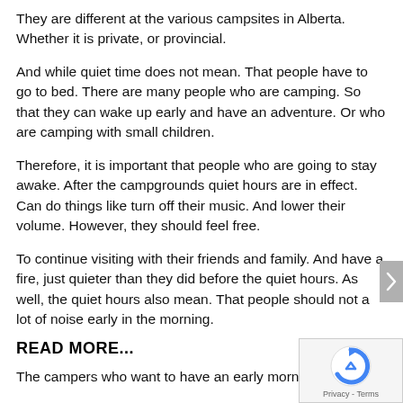They are different at the various campsites in Alberta. Whether it is private, or provincial.
And while quiet time does not mean. That people have to go to bed. There are many people who are camping. So that they can wake up early and have an adventure. Or who are camping with small children.
Therefore, it is important that people who are going to stay awake. After the campgrounds quiet hours are in effect. Can do things like turn off their music. And lower their volume. However, they should feel free.
To continue visiting with their friends and family. And have a fire, just quieter than they did before the quiet hours. As well, the quiet hours also mean. That people should not a lot of noise early in the morning.
READ MORE...
The campers who want to have an early morning